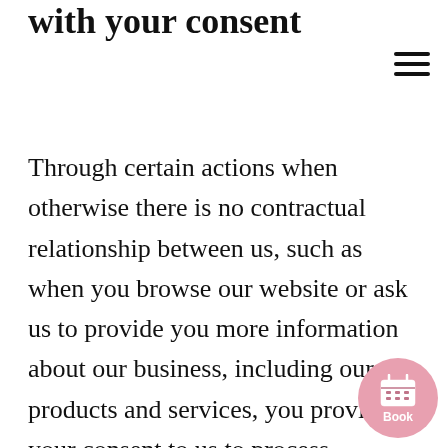with your consent
Through certain actions when otherwise there is no contractual relationship between us, such as when you browse our website or ask us to provide you more information about our business, including our products and services, you provide your consent to us to process information that may be personal information.Wherever possible, we aim to obtain your explicit consent process this information, for example,